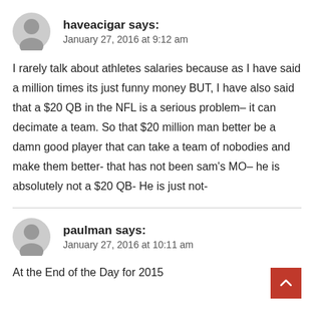haveacigar says:
January 27, 2016 at 9:12 am
I rarely talk about athletes salaries because as I have said a million times its just funny money BUT, I have also said that a $20 QB in the NFL is a serious problem– it can decimate a team. So that $20 million man better be a damn good player that can take a team of nobodies and make them better- that has not been sam's MO– he is absolutely not a $20 QB- He is just not-
paulman says:
January 27, 2016 at 10:11 am
At the End of the Day for 2015